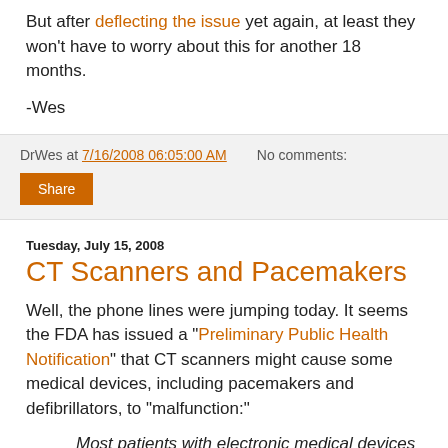But after deflecting the issue yet again, at least they won't have to worry about this for another 18 months.
-Wes
DrWes at 7/16/2008 06:05:00 AM   No comments:
Share
Tuesday, July 15, 2008
CT Scanners and Pacemakers
Well, the phone lines were jumping today. It seems the FDA has issued a "Preliminary Public Health Notification" that CT scanners might cause some medical devices, including pacemakers and defibrillators, to "malfunction:"
Most patients with electronic medical devices undergo CT scans without any adverse consequences. However, FDA has received a small number of reports of adverse events in